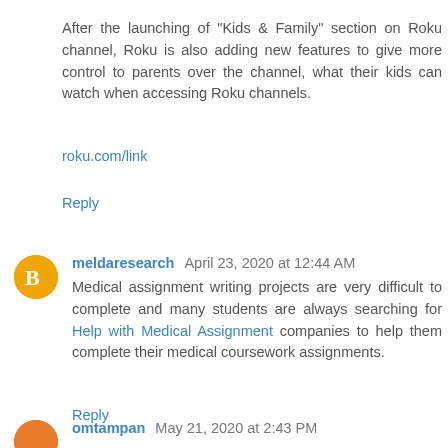After the launching of "Kids & Family" section on Roku channel, Roku is also adding new features to give more control to parents over the channel, what their kids can watch when accessing Roku channels.
roku.com/link
Reply
meldaresearch  April 23, 2020 at 12:44 AM
Medical assignment writing projects are very difficult to complete and many students are always searching for Help with Medical Assignment companies to help them complete their medical coursework assignments.
Reply
omtampan  May 21, 2020 at 2:43 PM